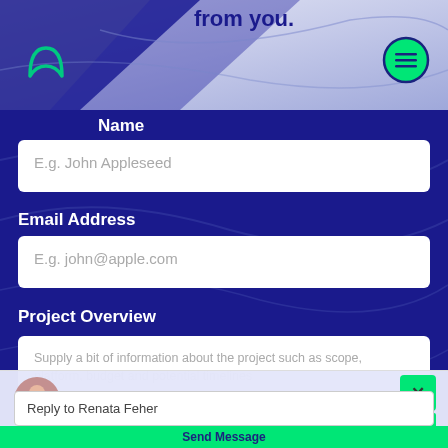from you.
[Figure (logo): Mochi/leaf logo mark in teal/green on upper left]
[Figure (other): Hamburger menu button - green circle with three horizontal lines]
Name
E.g. John Appleseed
Email Address
E.g. john@apple.com
Project Overview
Supply a bit of information about the project such as scope, platform, budget and potential timelines
Renata Feher from Unity Developers
Hi there! So we're away right now, but if you leave us a message and email address we'll get back to you soon.
Reply to Renata Feher